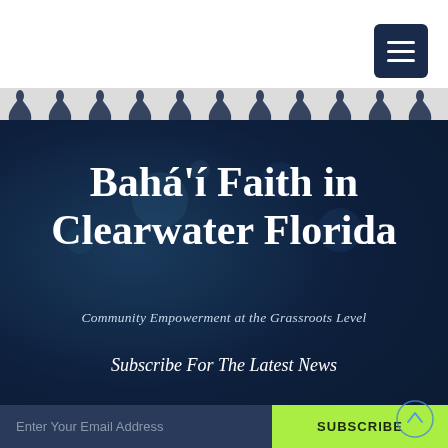[Figure (screenshot): Hamburger/menu icon button in dark navy blue with three white horizontal lines]
[Figure (illustration): Ornamental decorative border strip with white lace-like silhouettes of crowns and floral motifs on a grey background]
Bahá'í Faith in Clearwater Florida
Community Empowerment at the Grassroots Level
Subscribe For The Latest News
Enter Your Email Address
SUBSCRIBE